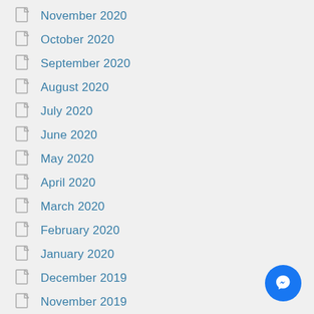November 2020
October 2020
September 2020
August 2020
July 2020
June 2020
May 2020
April 2020
March 2020
February 2020
January 2020
December 2019
November 2019
October 2019
September 2019